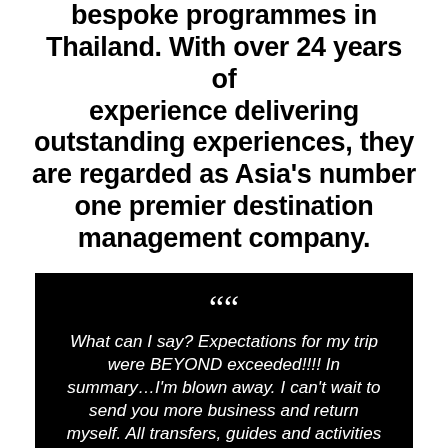bespoke programmes in Thailand. With over 24 years of experience delivering outstanding experiences, they are regarded as Asia's number one premier destination management company.
What can I say? Expectations for my trip were BEYOND exceeded!!!! In summary…I'm blown away. I can't wait to send you more business and return myself. All transfers, guides and activities were ABOVE and beyond what I imagined. You made me LOOK LIKE A STAR to my clients. Thank you so much for everything. Looking forward to the next adventure together!